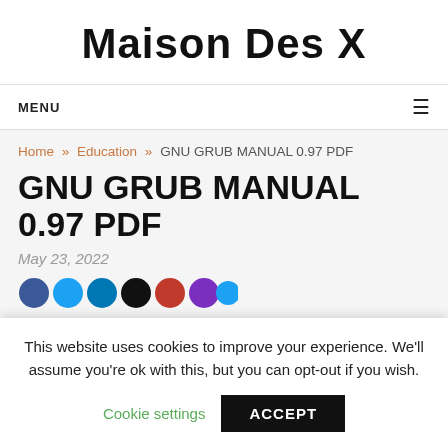Maison Des X
MENU
Home » Education » GNU GRUB MANUAL 0.97 PDF
GNU GRUB MANUAL 0.97 PDF
May 23, 2022
This website uses cookies to improve your experience. We'll assume you're ok with this, but you can opt-out if you wish.
Cookie settings    ACCEPT